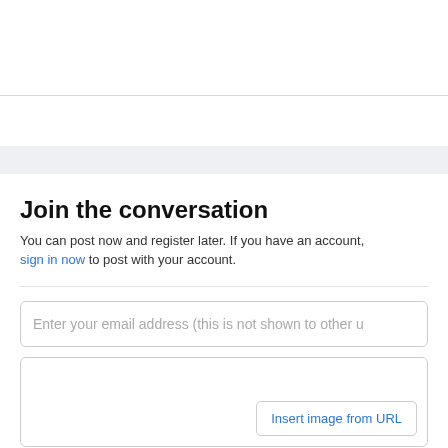Join the conversation
You can post now and register later. If you have an account, sign in now to post with your account.
[Figure (screenshot): Email address input field with placeholder text: Enter your email address (this is not shown to other users)]
[Figure (screenshot): Text area input field with an 'Insert image from URL' button in the bottom right corner]
[Figure (screenshot): Blue submit button at the bottom center of the form]